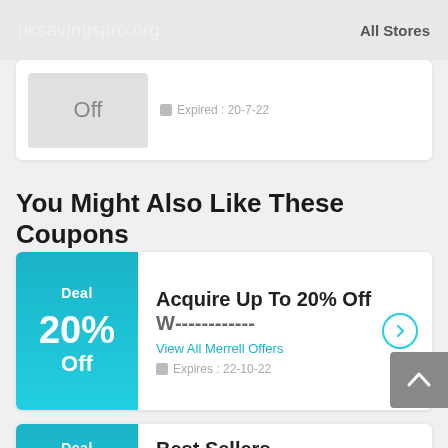pksavingspro.org   All Stores
Off   Expired : 20-7-22
You Might Also Like These Coupons
[Figure (other): Deal badge: 20% Off teal coupon card with title 'Acquire Up To 20% Off W...' and 'View All Merrell Offers', Expires: 22-10-22]
[Figure (other): Deal badge: Best Sellers coupon card (partially visible)]